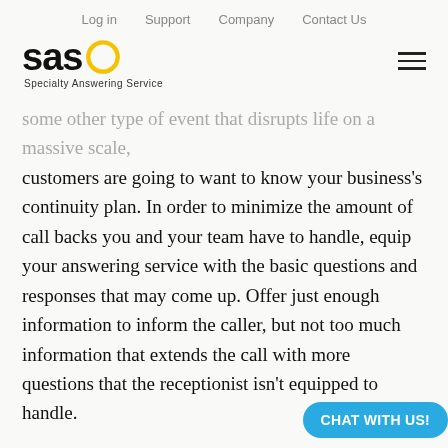Log in   Support   Company   Contact Us
[Figure (logo): SAS Specialty Answering Service logo with yellow circle graphic]
some other type of event that disrupts life on a massive scale, customers are going to want to know your business's continuity plan. In order to minimize the amount of call backs you and your team have to handle, equip your answering service with the basic questions and responses that may come up. Offer just enough information to inform the caller, but not too much information that extends the call with more questions that the receptionist isn't equipped to handle.

If your business is closed, try and provide estimates of when you'll re-open, or include details of what's being done remotely to help business run as usual. Th
CHAT WITH US!